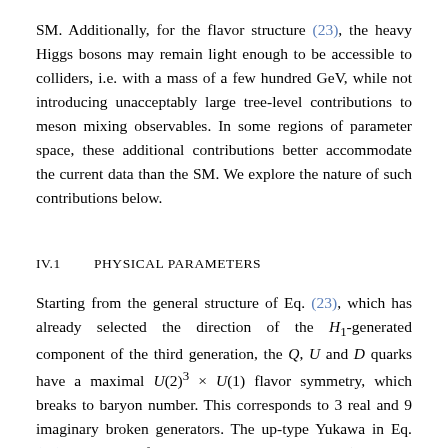SM. Additionally, for the flavor structure (23), the heavy Higgs bosons may remain light enough to be accessible to colliders, i.e. with a mass of a few hundred GeV, while not introducing unacceptably large tree-level contributions to meson mixing observables. In some regions of parameter space, these additional contributions better accommodate the current data than the SM. We explore the nature of such contributions below.
IV.1    PHYSICAL PARAMETERS
Starting from the general structure of Eq. (23), which has already selected the direction of the H1-generated component of the third generation, the Q, U and D quarks have a maximal U(2)^3 × U(1) flavor symmetry, which breaks to baryon number. This corresponds to 3 real and 9 imaginary broken generators. The up-type Yukawa in Eq. (23) has a total of 3+3+3=9 real parameters (z_{t,u,c}, and the SO(3) rotations of U and V) and 6+6−2−2=8